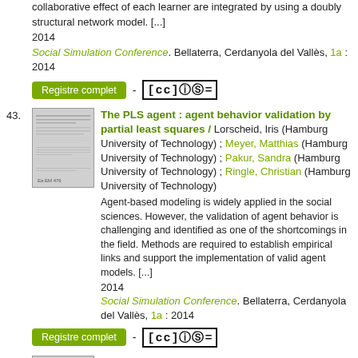collaborative effect of each learner are integrated by using a doubly structural network model. [...]
2014
Social Simulation Conference. Bellaterra, Cerdanyola del Vallès, 1a : 2014
Registre complet - [cc icons]
43. The PLS agent : agent behavior validation by partial least squares / Lorscheid, Iris (Hamburg University of Technology) ; Meyer, Matthias (Hamburg University of Technology) ; Pakur, Sandra (Hamburg University of Technology) ; Ringle, Christian (Hamburg University of Technology)
Agent-based modeling is widely applied in the social sciences. However, the validation of agent behavior is challenging and identified as one of the shortcomings in the field. Methods are required to establish empirical links and support the implementation of valid agent models. [...]
2014
Social Simulation Conference. Bellaterra, Cerdanyola del Vallès, 1a : 2014
Registre complet - [cc icons]
44. Computing job satisfaction with social comparison process : an agent-based approach / Chapuis, Kevin (Université de Paris VI) ; Kant, Jean-Daniel (Université de Paris VI)
In this article we propose a brief overview of Happywork, a multi-agent based model of job satisfaction inspired by...